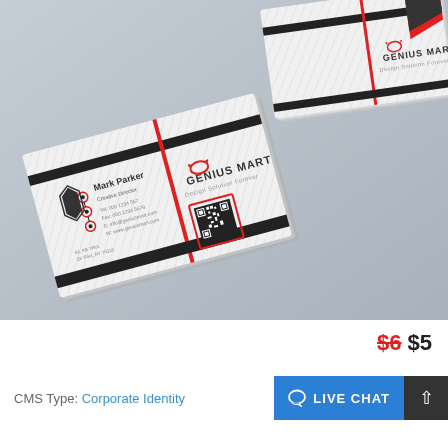[Figure (photo): Product mockup photo showing two stacks of business cards for 'Genius Mart - Design Solution Forever'. The front-facing card shows the back side with a QR code and the Genius Mart logo. Another card stack shows the front side with the logo only. A third view shows the contact side with Mark Parker's name and contact details.]
$6 $5
CMS Type: Corporate Identity
LIVE CHAT